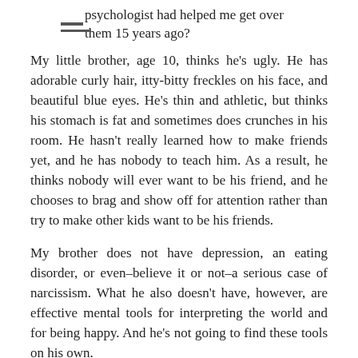psychologist had helped me get over them 15 years ago?
My little brother, age 10, thinks he’s ugly. He has adorable curly hair, itty-bitty freckles on his face, and beautiful blue eyes. He’s thin and athletic, but thinks his stomach is fat and sometimes does crunches in his room. He hasn’t really learned how to make friends yet, and he has nobody to teach him. As a result, he thinks nobody will ever want to be his friend, and he chooses to brag and show off for attention rather than try to make other kids want to be his friends.
My brother does not have depression, an eating disorder, or even–believe it or not–a serious case of narcissism. What he also doesn’t have, however, are effective mental tools for interpreting the world and for being happy. And he’s not going to find these tools on his own.
What if, in addition to physical checkups to make sure